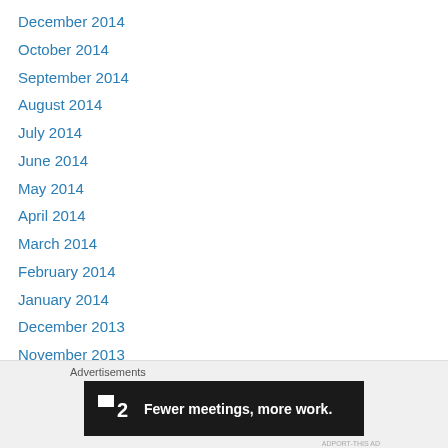December 2014
October 2014
September 2014
August 2014
July 2014
June 2014
May 2014
April 2014
March 2014
February 2014
January 2014
December 2013
November 2013
October 2013
September 2013
August 2013
Advertisements
[Figure (other): Advertisement banner: F2 logo with text 'Fewer meetings, more work.' on dark background]